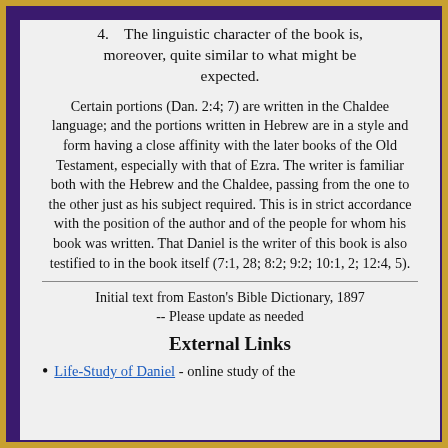4.    The linguistic character of the book is, moreover, quite similar to what might be expected.
Certain portions (Dan. 2:4; 7) are written in the Chaldee language; and the portions written in Hebrew are in a style and form having a close affinity with the later books of the Old Testament, especially with that of Ezra. The writer is familiar both with the Hebrew and the Chaldee, passing from the one to the other just as his subject required. This is in strict accordance with the position of the author and of the people for whom his book was written. That Daniel is the writer of this book is also testified to in the book itself (7:1, 28; 8:2; 9:2; 10:1, 2; 12:4, 5).
Initial text from Easton's Bible Dictionary, 1897 -- Please update as needed
External Links
Life-Study of Daniel - online study of the